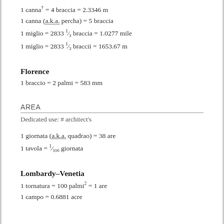1 canna† = 4 braccia = 2.3346 m
1 canna (a.k.a. percha) = 5 braccia
1 miglio = 2833 ⅓ braccia = 1.0277 mile
1 miglio = 2833 ⅓ braccii = 1653.67 m
Florence
1 braccio = 2 palmi = 583 mm
AREA
Dedicated use: # architect's
1 giornata (a.k.a. quadrao) = 38 are
1 tavola = ¹⁄₁₀₀ giornata
Lombardy–Venetia
1 tornatura = 100 palmi² = 1 are
1 campo = 0.6881 acre